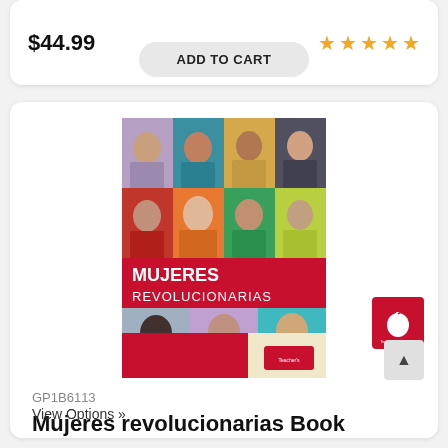$44.99
[Figure (other): Five gold star rating icons]
ADD TO CART
[Figure (photo): Book cover of Mujeres Revolucionarias showing a grid of illustrated women's portraits on a red background with the title MUJERES REVOLUCIONARIAS in white text]
[Figure (logo): Teacher's Discovery publisher logo — red square with white apple icon and text]
GP1B6113
Mujeres revolucionarias Book
View Options »